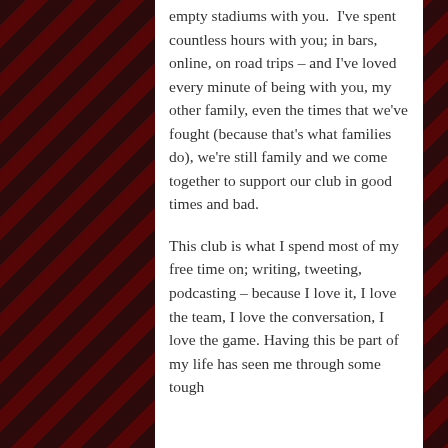empty stadiums with you.  I've spent countless hours with you; in bars, online, on road trips – and I've loved every minute of being with you, my other family, even the times that we've fought (because that's what families do), we're still family and we come together to support our club in good times and bad.
This club is what I spend most of my free time on; writing, tweeting, podcasting – because I love it, I love the team, I love the conversation, I love the game. Having this be part of my life has seen me through some tough